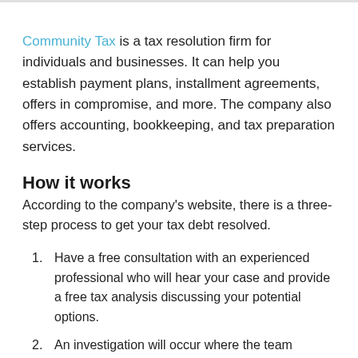Community Tax is a tax resolution firm for individuals and businesses. It can help you establish payment plans, installment agreements, offers in compromise, and more. The company also offers accounting, bookkeeping, and tax preparation services.
How it works
According to the company's website, there is a three-step process to get your tax debt resolved.
Have a free consultation with an experienced professional who will hear your case and provide a free tax analysis discussing your potential options.
An investigation will occur where the team